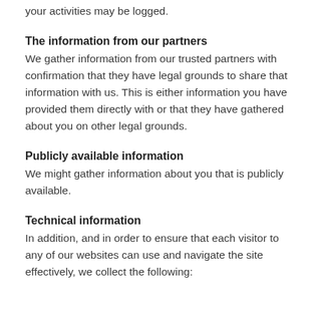your activities may be logged.
The information from our partners
We gather information from our trusted partners with confirmation that they have legal grounds to share that information with us. This is either information you have provided them directly with or that they have gathered about you on other legal grounds.
Publicly available information
We might gather information about you that is publicly available.
Technical information
In addition, and in order to ensure that each visitor to any of our websites can use and navigate the site effectively, we collect the following: